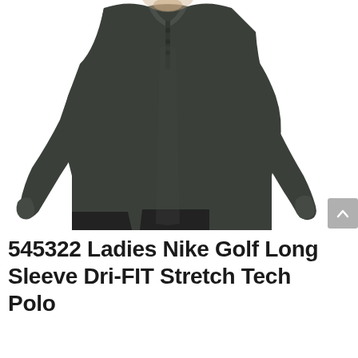[Figure (photo): A woman wearing a dark charcoal/dark grey long sleeve polo shirt (Nike Golf Long Sleeve Dri-FIT Stretch Tech Polo), shown from neck to mid-thigh, with dark pants visible at the bottom. White background.]
545322 Ladies Nike Golf Long Sleeve Dri-FIT Stretch Tech Polo